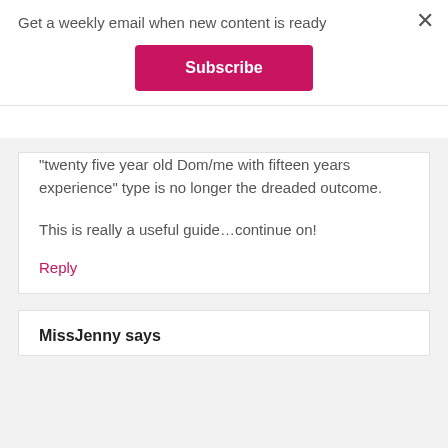Get a weekly email when new content is ready
Subscribe
“twenty five year old Dom/me with fifteen years experience” type is no longer the dreaded outcome.
This is really a useful guide…continue on!
Reply
MissJenny says